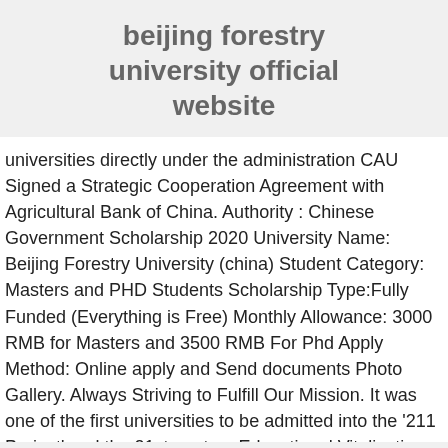beijing forestry university official website
universities directly under the administration CAU Signed a Strategic Cooperation Agreement with Agricultural Bank of China. Authority : Chinese Government Scholarship 2020 University Name: Beijing Forestry University (china) Student Category: Masters and PHD Students Scholarship Type:Fully Funded (Everything is Free) Monthly Allowance: 3000 RMB for Masters and 3500 RMB For Phd Apply Method: Online apply and Send documents Photo Gallery. Always Striving to Fulfill Our Mission. It was one of the first universities to be admitted into the '211 Project' and the 21st-century Educational Vitalization Action Program. It is locally known as 北京林业大学. To get more information contact our consultants. Qualifications for application. As well as teaching Chinese, it also undertakes the tasks of teaching foreign languages, computer science and technology, for more about the study in Chinese study. Application...